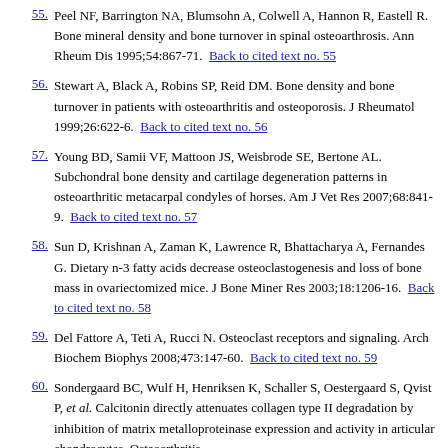55. Peel NF, Barrington NA, Blumsohn A, Colwell A, Hannon R, Eastell R. Bone mineral density and bone turnover in spinal osteoarthrosis. Ann Rheum Dis 1995;54:867-71. Back to cited text no. 55
56. Stewart A, Black A, Robins SP, Reid DM. Bone density and bone turnover in patients with osteoarthritis and osteoporosis. J Rheumatol 1999;26:622-6. Back to cited text no. 56
57. Young BD, Samii VF, Mattoon JS, Weisbrode SE, Bertone AL. Subchondral bone density and cartilage degeneration patterns in osteoarthritic metacarpal condyles of horses. Am J Vet Res 2007;68:841-9. Back to cited text no. 57
58. Sun D, Krishnan A, Zaman K, Lawrence R, Bhattacharya A, Fernandes G. Dietary n-3 fatty acids decrease osteoclastogenesis and loss of bone mass in ovariectomized mice. J Bone Miner Res 2003;18:1206-16. Back to cited text no. 58
59. Del Fattore A, Teti A, Rucci N. Osteoclast receptors and signaling. Arch Biochem Biophys 2008;473:147-60. Back to cited text no. 59
60. Sondergaard BC, Wulf H, Henriksen K, Schaller S, Oestergaard S, Qvist P, et al. Calcitonin directly attenuates collagen type II degradation by inhibition of matrix metalloproteinase expression and activity in articular chondrocytes. Osteoarthritis